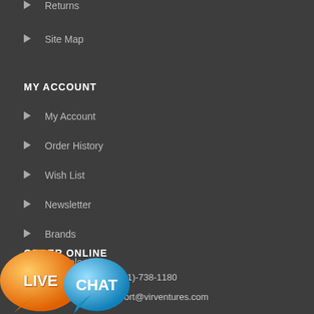Returns
Site Map
MY ACCOUNT
My Account
Order History
Wish List
Newsletter
Brands
Specials
ORDER ONLINE
(81)-738-1180
port@virventures.com
[Figure (illustration): Live Chat speech bubble graphic with orange bubble labeled LIVE and blue bubble labeled CHAT]